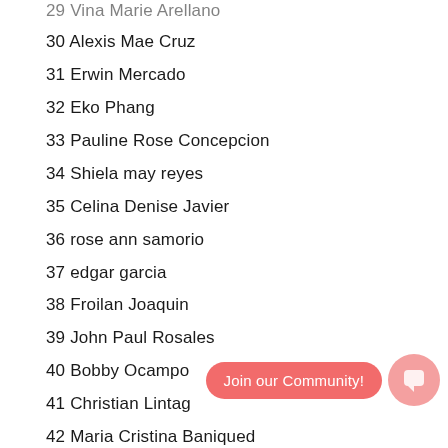29 Vina Marie Arellano
30 Alexis Mae Cruz
31 Erwin Mercado
32 Eko Phang
33 Pauline Rose Concepcion
34 Shiela may reyes
35 Celina Denise Javier
36 rose ann samorio
37 edgar garcia
38 Froilan Joaquin
39 John Paul Rosales
40 Bobby Ocampo
41 Christian Lintag
42 Maria Cristina Baniqued
43 albert villamayor
44 France Gutierrez
45 Diane Castillo
46 Charles Darwin Villanueva